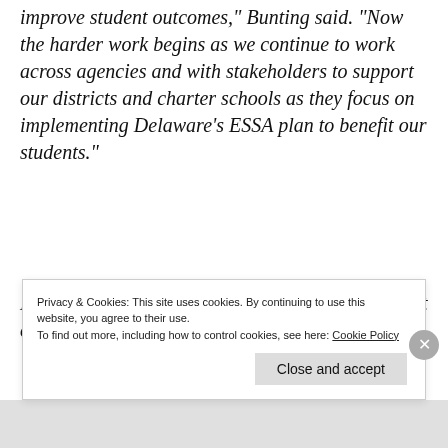improve student outcomes,” Bunting said. “Now the harder work begins as we continue to work across agencies and with stakeholders to support our districts and charter schools as they focus on implementing Delaware’s ESSA plan to benefit our students.”
Delaware was the first of 16 states and the District of Columbia to opt to submit their
Privacy & Cookies: This site uses cookies. By continuing to use this website, you agree to their use.
To find out more, including how to control cookies, see here: Cookie Policy